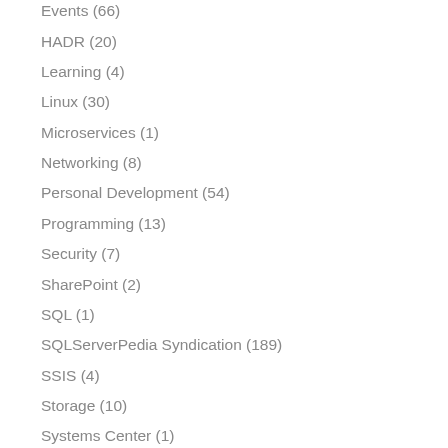Events (66)
HADR (20)
Learning (4)
Linux (30)
Microservices (1)
Networking (8)
Personal Development (54)
Programming (13)
Security (7)
SharePoint (2)
SQL (1)
SQLServerPedia Syndication (189)
SSIS (4)
Storage (10)
Systems Center (1)
Virtualization (15)
Windows (35)
TAGS